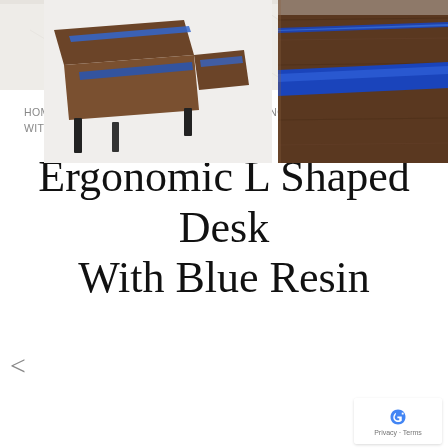[Figure (photo): Top portion of a light-colored marble or stone surface, partially cropped]
HOME > PROJECT GALLERY > DESKS > ERGONOMIC L SHAPED DESK WITH BLUE RESIN
Ergonomic L Shaped Desk With Blue Resin
[Figure (photo): L-shaped wood desk with blue resin inlay strips, dark walnut wood, black metal legs, viewed from above-angle]
[Figure (photo): Close-up edge view of walnut wood board with bright blue resin river inlay running lengthwise]